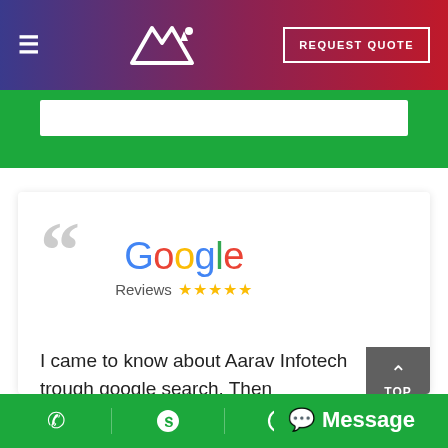[Figure (screenshot): Navigation bar with hamburger menu, Ai logo, and REQUEST QUOTE button on gradient purple-to-red background]
[Figure (screenshot): Green form area with white input box]
[Figure (screenshot): Google Reviews logo with stars and opening quote mark]
I came to know about Aarav Infotech trough google search. Then contacted them to develop my website. The team worked closely with me to get the output what I expected. T
[Figure (screenshot): Bottom navigation bar with phone, Skype, WhatsApp icons and Message bubble button]